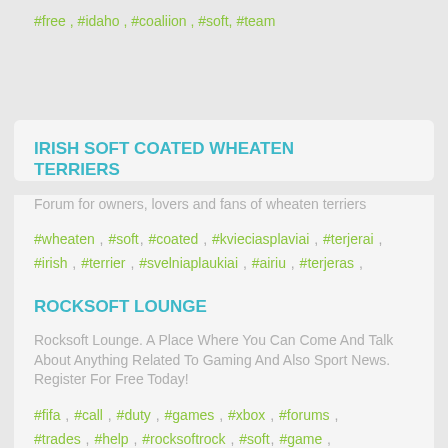#free , #idaho , #coaliion , #soft, #team
IRISH SOFT COATED WHEATEN TERRIERS
Forum for owners, lovers and fans of wheaten terriers
#wheaten , #soft, #coated , #kvieciasplaviai , #terjerai , #irish , #terrier , #svelniaplaukiai , #airiu , #terjeras , #worldwide
ROCKSOFT LOUNGE
Rocksoft Lounge. A Place Where You Can Come And Talk About Anything Related To Gaming And Also Sport News. Register For Free Today!
#fifa , #call , #duty , #games , #xbox , #forums , #trades , #help , #rocksoftrock , #soft, #game ,